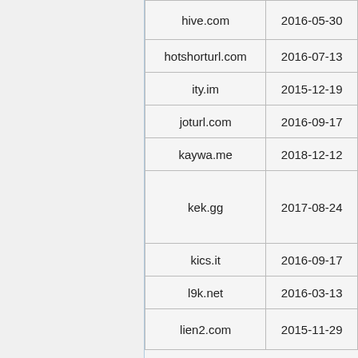| Domain | Date |
| --- | --- |
| hive.com | 2016-05-30 |
| hotshorturl.com | 2016-07-13 |
| ity.im | 2015-12-19 |
| joturl.com | 2016-09-17 |
| kaywa.me | 2018-12-12 |
| kek.gg | 2017-08-24 |
| kics.it | 2016-09-17 |
| l9k.net | 2016-03-13 |
| lien2.com | 2015-11-29 |